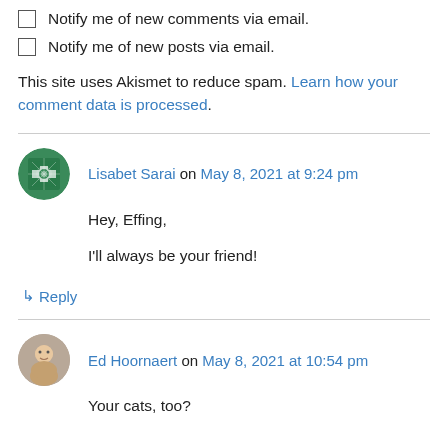Notify me of new comments via email.
Notify me of new posts via email.
This site uses Akismet to reduce spam. Learn how your comment data is processed.
Lisabet Sarai on May 8, 2021 at 9:24 pm
Hey, Effing,

I'll always be your friend!
↳ Reply
Ed Hoornaert on May 8, 2021 at 10:54 pm
Your cats, too?